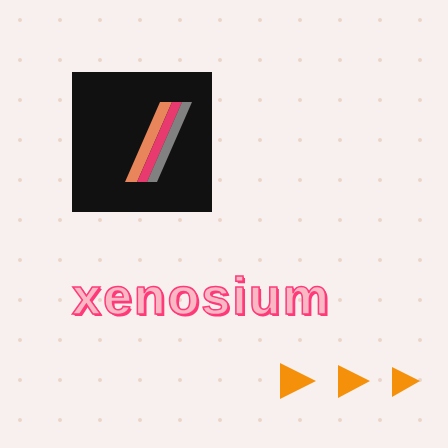[Figure (logo): Black square logo with a stylized letter K/slash shape made of pink, orange, and gray diagonal stripes]
xenosium
[Figure (illustration): Three orange right-pointing triangle arrow shapes arranged horizontally, decreasing in size from left to right]